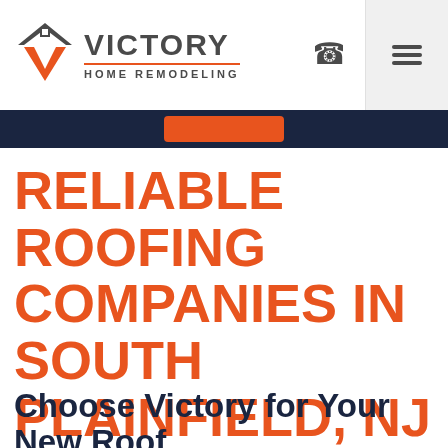[Figure (logo): Victory Home Remodeling logo with house/chevron icon in dark gray and orange, company name in bold dark gray, underlined with orange bar, subtitle 'HOME REMODELING' in dark gray]
RELIABLE ROOFING COMPANIES IN SOUTH PLAINFIELD, NJ
Choose Victory for Your New Roof